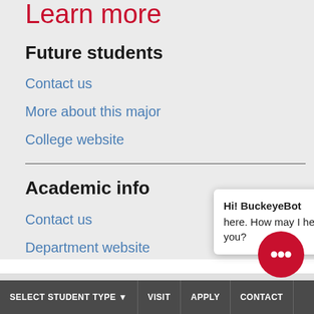Learn more
Future students
Contact us
More about this major
College website
Academic info
Contact us
Department website
Arts, Innovation and Creativity … focus areas in University Explor…
Hi! BuckeyeBot here. How may I help you?
SELECT STUDENT TYPE   VISIT   APPLY   CONTACT